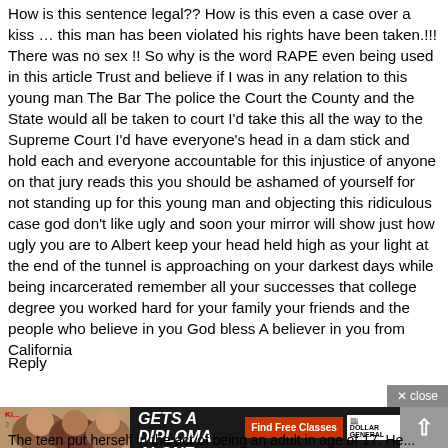How is this sentence legal?? How is this even a case over a kiss … this man has been violated his rights have been taken.!!! There was no sex !! So why is the word RAPE even being used in this article Trust and believe if I was in any relation to this young man The Bar The police the Court the County and the State would all be taken to court I'd take this all the way to the Supreme Court I'd have everyone's head in a dam stick and hold each and everyone accountable for this injustice of anyone on that jury reads this you should be ashamed of yourself for not standing up for this young man and objecting this ridiculous case god don't like ugly and soon your mirror will show just how ugly you are to Albert keep your head held high as your light at the end of the tunnel is approaching on your darkest days while being incarcerated remember all your successes that college degree you worked hard for your family your friends and the people who believe in you God bless A believer in you from California
Reply
[Figure (screenshot): Advertisement banner at bottom of page showing 'NO ONE GETS A DIPLOMA ALONE.' with a red 'Find Free Classes' button and Dollar General logo, along with a photo of women and a close button.]
The teen put herself in the act of being an adult in age of 17. He...